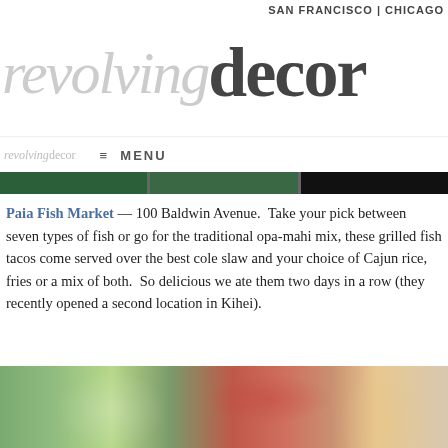SAN FRANCISCO | CHICAGO
revolving decor
≡ MENU
[Figure (photo): Dark image strip showing partial food/restaurant photos at top of page]
Paia Fish Market — 100 Baldwin Avenue.  Take your pick between seven types of fish or go for the traditional opa-mahi mix, these grilled fish tacos come served over the best cole slaw and your choice of Cajun rice, fries or a mix of both.  So delicious we ate them two days in a row (they recently opened a second location in Kihei).
[Figure (photo): Photo of grilled fish tacos with lettuce, tomatoes and toppings served on a plate]